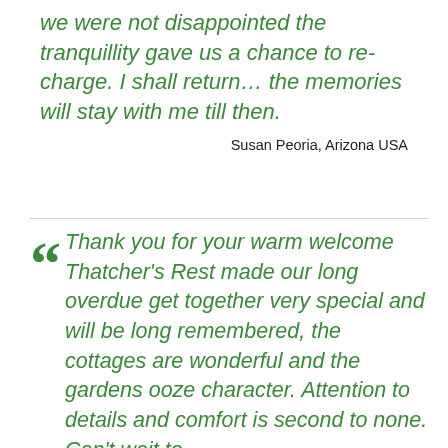we were not disappointed the tranquillity gave us a chance to re-charge. I shall return… the memories will stay with me till then.
Susan Peoria, Arizona USA
" Thank you for your warm welcome Thatcher's Rest made our long overdue get together very special and will be long remembered, the cottages are wonderful and the gardens ooze character. Attention to details and comfort is second to none. Can't wait to